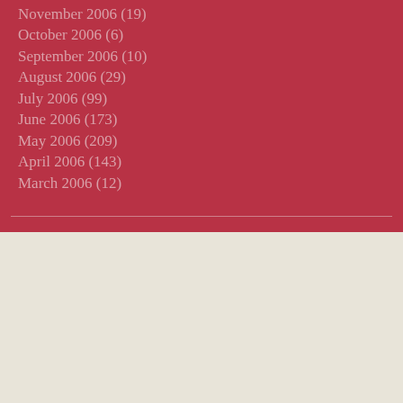November 2006 (19)
October 2006 (6)
September 2006 (10)
August 2006 (29)
July 2006 (99)
June 2006 (173)
May 2006 (209)
April 2006 (143)
March 2006 (12)
Powered by WordPress.com.
[Figure (other): Barcode image in dark red on beige background]